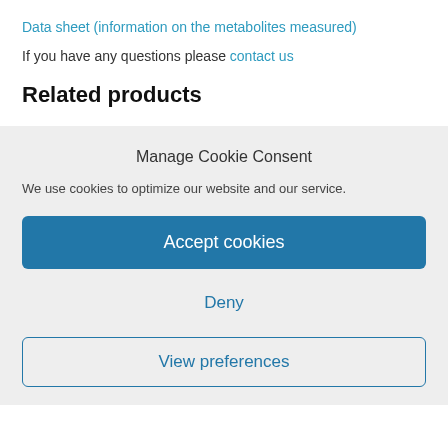Data sheet (information on the metabolites measured)
If you have any questions please contact us
Related products
Manage Cookie Consent
We use cookies to optimize our website and our service.
Accept cookies
Deny
View preferences